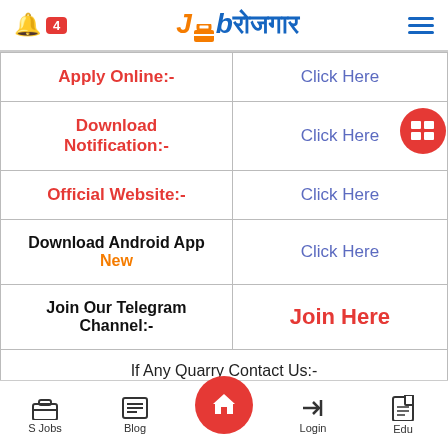Job Rojgar - JobRojgar app header with logo and navigation
| Action | Link |
| --- | --- |
| Apply Online:- | Click Here |
| Download Notification:- | Click Here |
| Official Website:- | Click Here |
| Download Android App New | Click Here |
| Join Our Telegram Channel:- | Join Here |
| If Any Quarry Contact Us:- jobroigar.c...@gmail.com |  |
S Jobs | Blog | Home | Login | Edu